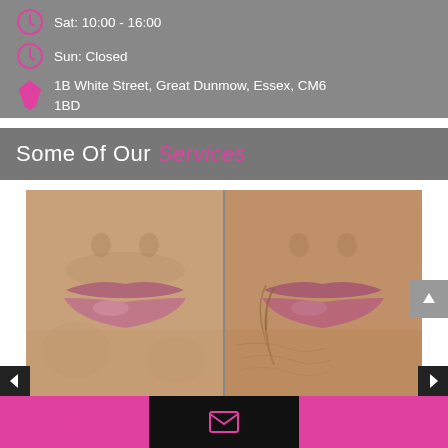Sat: 10:00 - 16:00
Sun: Closed
1B White Street, Great Dunmow, Essex, CM6 1BD
Some Of Our Services
[Figure (photo): Before and after comparison photo showing close-up of lips and lower face area, split into two panels. Left panel shows smoother skin, right panel shows skin with more visible wrinkles and lines around mouth area.]